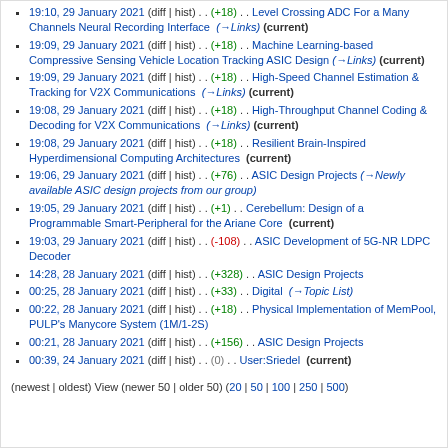19:10, 29 January 2021 (diff | hist) . . (+18) . . Level Crossing ADC For a Many Channels Neural Recording Interface (→Links) (current)
19:09, 29 January 2021 (diff | hist) . . (+18) . . Machine Learning-based Compressive Sensing Vehicle Location Tracking ASIC Design (→Links) (current)
19:09, 29 January 2021 (diff | hist) . . (+18) . . High-Speed Channel Estimation & Tracking for V2X Communications (→Links) (current)
19:08, 29 January 2021 (diff | hist) . . (+18) . . High-Throughput Channel Coding & Decoding for V2X Communications (→Links) (current)
19:08, 29 January 2021 (diff | hist) . . (+18) . . Resilient Brain-Inspired Hyperdimensional Computing Architectures (current)
19:06, 29 January 2021 (diff | hist) . . (+76) . . ASIC Design Projects (→Newly available ASIC design projects from our group)
19:05, 29 January 2021 (diff | hist) . . (+1) . . Cerebellum: Design of a Programmable Smart-Peripheral for the Ariane Core (current)
19:03, 29 January 2021 (diff | hist) . . (-108) . . ASIC Development of 5G-NR LDPC Decoder
14:28, 28 January 2021 (diff | hist) . . (+328) . . ASIC Design Projects
00:25, 28 January 2021 (diff | hist) . . (+33) . . Digital (→Topic List)
00:22, 28 January 2021 (diff | hist) . . (+18) . . Physical Implementation of MemPool, PULP's Manycore System (1M/1-2S)
00:21, 28 January 2021 (diff | hist) . . (+156) . . ASIC Design Projects
00:39, 24 January 2021 (diff | hist) . . (0) . . User:Sriedel (current)
(newest | oldest) View (newer 50 | older 50) (20 | 50 | 100 | 250 | 500)